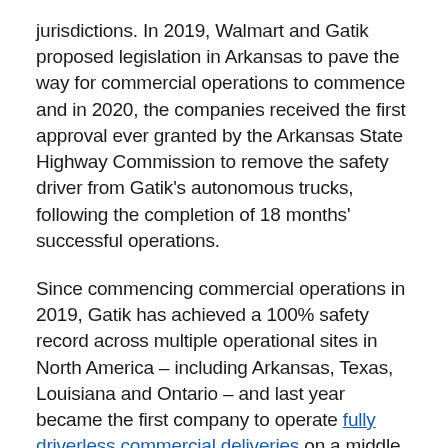jurisdictions. In 2019, Walmart and Gatik proposed legislation in Arkansas to pave the way for commercial operations to commence and in 2020, the companies received the first approval ever granted by the Arkansas State Highway Commission to remove the safety driver from Gatik's autonomous trucks, following the completion of 18 months' successful operations.
Since commencing commercial operations in 2019, Gatik has achieved a 100% safety record across multiple operational sites in North America – including Arkansas, Texas, Louisiana and Ontario – and last year became the first company to operate fully driverless commercial deliveries on a middle mile delivery route anywhere in the world with Walmart, in their home state of Arkansas.